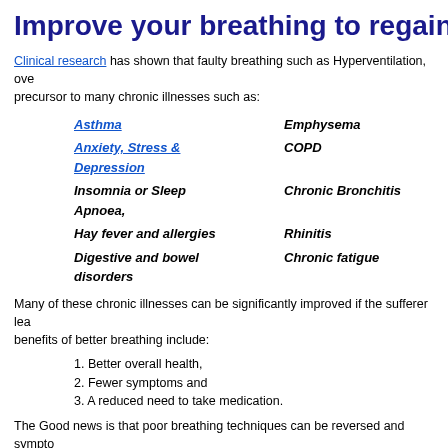Improve your breathing to regain your h
Clinical research has shown that faulty breathing such as Hyperventilation, ove... precursor to many chronic illnesses such as:
Asthma
Emphysema
Anxiety, Stress & Depression
COPD
Insomnia or Sleep Apnoea,
Chronic Bronchitis
Hay fever and allergies
Rhinitis
Digestive and bowel disorders
Chronic fatigue
Many of these chronic illnesses can be significantly improved if the sufferer lea... benefits of better breathing include:
Better overall health,
Fewer symptoms and
A reduced need to take medication.
The Good news is that poor breathing techniques can be reversed and sympto... re-learning how to breathe! So if you suffer from any of the conditions listed abo... simple breathing techniques and strategies will give you a better state of health... one.
Need proof?
Many clinical studies undertaken all over the world have proved that effective...